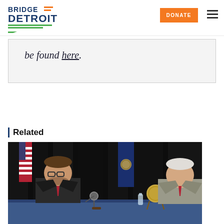Bridge Detroit — DONATE
be found here.
Related
[Figure (photo): Two men in suits seated at a table with microphone, American flag and Michigan state flag in background, at a formal government or civic event. A decorative plaque or seal is visible on the table.]